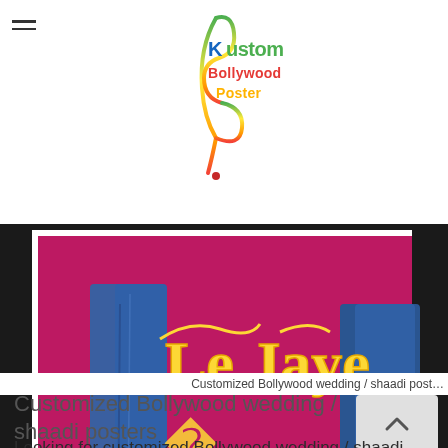Kustom Bollywood Poster
[Figure (photo): Cropped Bollywood-style wedding/shaadi poster showing two people's lower bodies in jeans and boots against a magenta/pink background, with large yellow text 'Le Jaye' partially visible, set in a black frame]
Customized Bollywood wedding / shaadi post...
Customized Bollywood wedding / shaadi posters
Looking for customized Bollywood wedding / shaadi posters a...